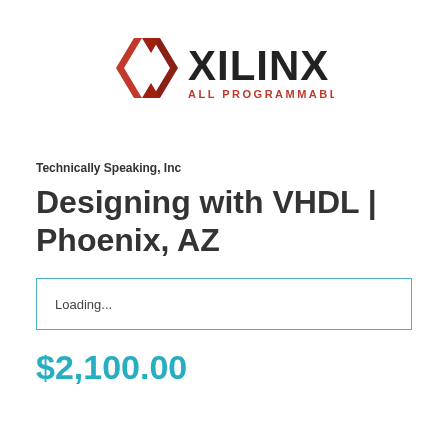[Figure (logo): Xilinx logo with red/dark X chevron icon and bold XILINX text, with tagline ALL PROGRAMMABLE in red below]
Technically Speaking, Inc
Designing with VHDL | Phoenix, AZ
Loading...
$2,100.00